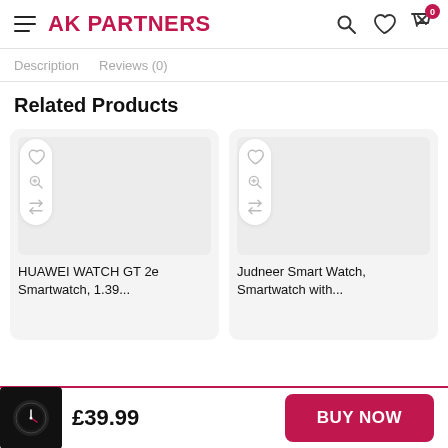AK PARTNERS
Description   Reviews (0)
Related Products
[Figure (screenshot): Product card for HUAWEI WATCH GT 2e Smartwatch, 1.39... with wishlist, zoom, and compare icons]
[Figure (screenshot): Product card for Judneer Smart Watch, Smartwatch with... with wishlist, zoom, and compare icons]
HUAWEI WATCH GT 2e Smartwatch, 1.39...
Judneer Smart Watch, Smartwatch with...
£39.99
BUY NOW